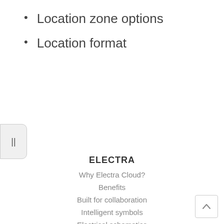Location zone options
Location format
[Figure (other): Pause button UI element on left edge]
ELECTRA
Why Electra Cloud?
Benefits
Built for collaboration
Intelligent symbols
Electrical schematics
Quick demo video
[Figure (other): Scroll to top button, bottom right corner]